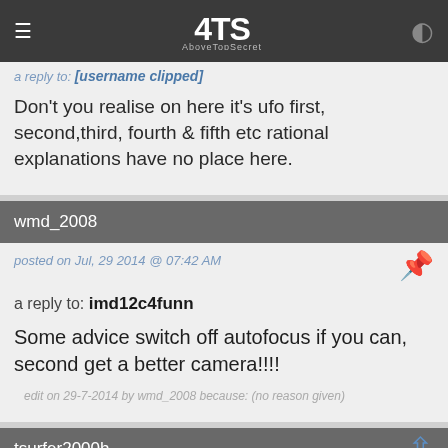4TS AboveTopSecret
a reply to: [username clipped]
Don't you realise on here it's ufo first, second,third, fourth & fifth etc rational explanations have no place here.
wmd_2008
posted on Jul, 29 2014 @ 07:42 AM
a reply to: imd12c4funn
Some advice switch off autofocus if you can, second get a better camera!!!!
edit on 29-7-2014 by wmd_2008 because: (no reason given)
tsurfer2000h